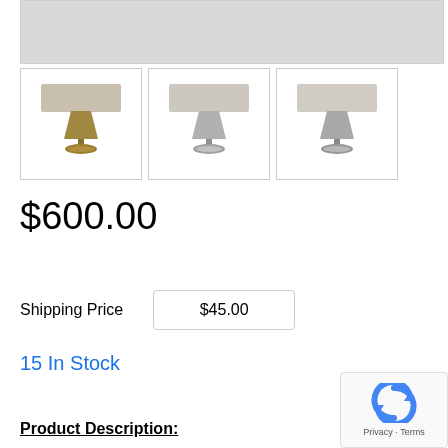[Figure (photo): Main product image area (partially visible, light gray background)]
[Figure (photo): Thumbnail 1: desk bell lamp with antique brass/bronze finish]
[Figure (photo): Thumbnail 2: desk bell lamp with silver/nickel finish]
[Figure (photo): Thumbnail 3: desk bell lamp with brushed nickel finish (partially cropped)]
$600.00
Shipping Price
$45.00
15 In Stock
Product Description: